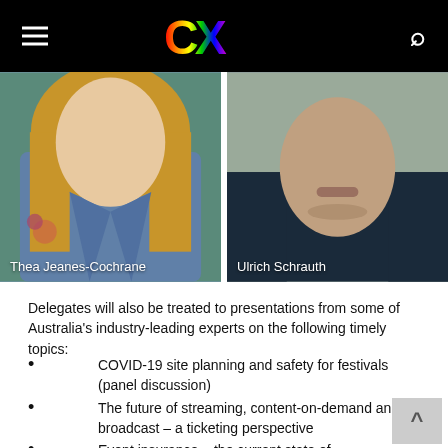CX (logo with hamburger and search icons)
[Figure (photo): Photo of Thea Jeanes-Cochrane wearing a denim jacket with floral embroidery, blonde hair, labeled 'Thea Jeanes-Cochrane']
[Figure (photo): Photo of Ulrich Schrauth in dark shirt, labeled 'Ulrich Schrauth']
Delegates will also be treated to presentations from some of Australia's industry-leading experts on the following timely topics:
COVID-19 site planning and safety for festivals (panel discussion)
The future of streaming, content-on-demand and broadcast – a ticketing perspective
Event insurance – the current state of play and future implications